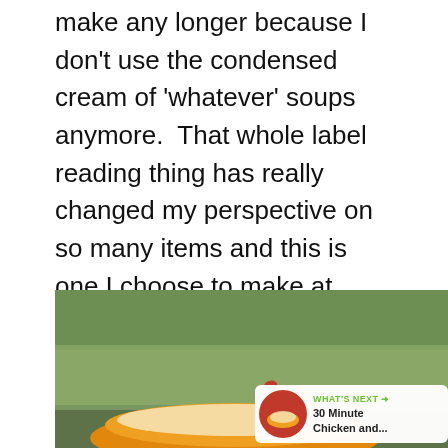make any longer because I don't use the condensed cream of 'whatever' soups anymore.  That whole label reading thing has really changed my perspective on so many items and this is one I choose to make at home.
Dinner's Ready!
Check out these chicken soups...
[Figure (photo): A bowl of chicken soup in an orange/yellow bowl on a dark surface, with green foliage in the background. A 'What's Next' overlay shows a thumbnail and text '30 Minute Chicken and...']